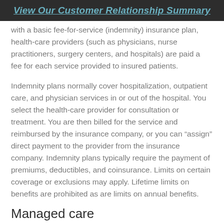View Our Customer Relationship Summary
with a basic fee-for-service (indemnity) insurance plan, health-care providers (such as physicians, nurse practitioners, surgery centers, and hospitals) are paid a fee for each service provided to insured patients.
Indemnity plans normally cover hospitalization, outpatient care, and physician services in or out of the hospital. You select the health-care provider for consultation or treatment. You are then billed for the service and reimbursed by the insurance company, or you can “assign” direct payment to the provider from the insurance company. Indemnity plans typically require the payment of premiums, deductibles, and coinsurance. Limits on certain coverage or exclusions may apply. Lifetime limits on benefits are prohibited as are limits on annual benefits.
Managed care